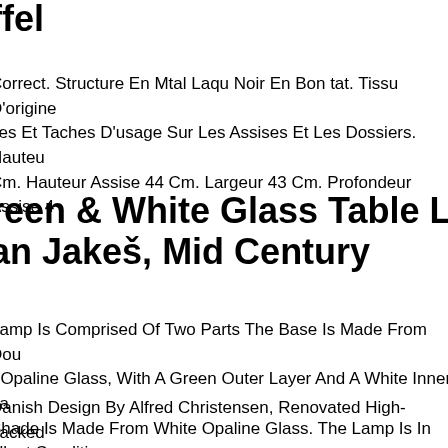ffel
Correct. Structure En Mtal Laqu Noir En Bon tat. Tissu D'origine ses Et Taches D'usage Sur Les Assises Et Les Dossiers. Hauteu Cm. Hauteur Assise 44 Cm. Largeur 43 Cm. Profondeur Assise 4
reen & White Glass Table Lamp By an Jakeš, Mid Century
Lamp Is Comprised Of Two Parts The Base Is Made From Dou r Opaline Glass, With A Green Outer Layer And A White Inner La Shade Is Made From White Opaline Glass. The Lamp Is In ellent Condition.
Danish Design By Alfred Christensen, Renovated High-backed hair. 60s, Danish Design By Alfred Christensen. Legs And rests Treated With White Oil. New Upholstery, Original Brass The Seat Backrest May Assessed By Standard Alte